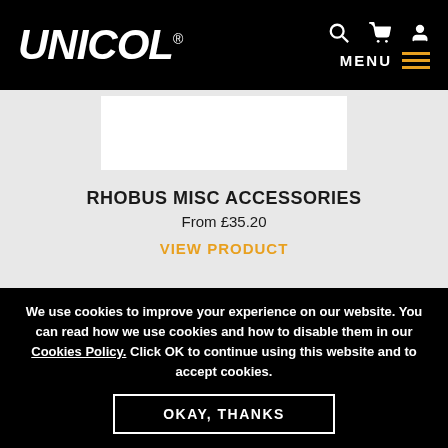UNICOL
[Figure (photo): White product image box placeholder]
RHOBUS MISC ACCESSORIES
From £35.20
VIEW PRODUCT
We use cookies to improve your experience on our website. You can read how we use cookies and how to disable them in our Cookies Policy. Click OK to continue using this website and to accept cookies.
OKAY, THANKS